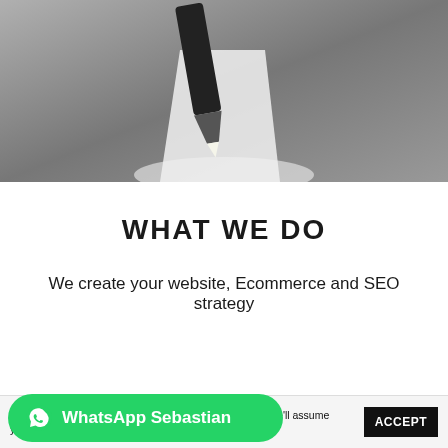[Figure (photo): Black and white close-up photo of a pen or pencil tip on paper, grayscale background]
WHAT WE DO
We create your website, Ecommerce and SEO strategy
This website uses cookies to improve your experience. We'll assume you're ok with this, but you can opt-out if you wish.
WhatsApp Sebastian
ACCEPT